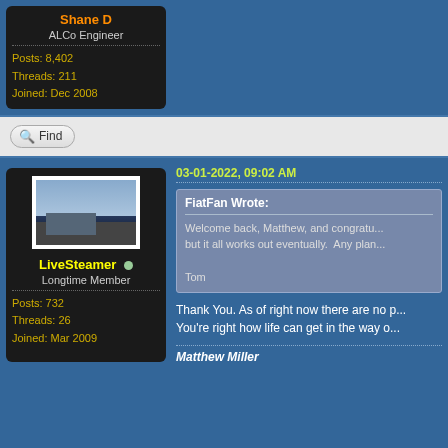Shane D
ALCo Engineer
Posts: 8,402
Threads: 211
Joined: Dec 2008
Find
[Figure (photo): Forum user avatar showing a train with sky background]
LiveSteamer
Longtime Member
Posts: 732
Threads: 26
Joined: Mar 2009
03-01-2022, 09:02 AM
FiatFan Wrote:
Welcome back, Matthew, and congratu...
but it all works out eventually.  Any plan...

Tom
Thank You. As of right now there are no p...
You're right how life can get in the way o...
Matthew Miller